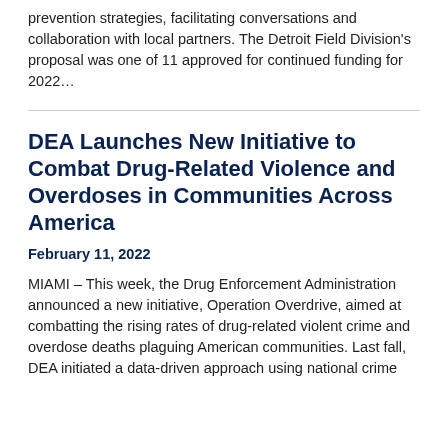prevention strategies, facilitating conversations and collaboration with local partners. The Detroit Field Division's proposal was one of 11 approved for continued funding for 2022…
DEA Launches New Initiative to Combat Drug-Related Violence and Overdoses in Communities Across America
February 11, 2022
MIAMI – This week, the Drug Enforcement Administration announced a new initiative, Operation Overdrive, aimed at combatting the rising rates of drug-related violent crime and overdose deaths plaguing American communities. Last fall, DEA initiated a data-driven approach using national crime